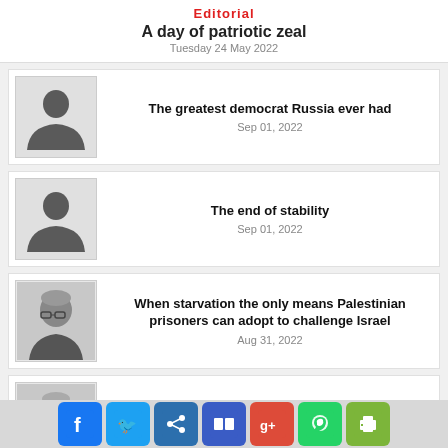Editorial
A day of patriotic zeal
Tuesday 24 May 2022
[Figure (illustration): Generic user avatar placeholder (grey silhouette)]
The greatest democrat Russia ever had
Sep 01, 2022
[Figure (illustration): Generic user avatar placeholder (grey silhouette)]
The end of stability
Sep 01, 2022
[Figure (photo): Black and white portrait photo of an older person with glasses and short grey hair]
When starvation the only means Palestinian prisoners can adopt to challenge Israel
Aug 31, 2022
[Figure (photo): Black and white portrait photo of an older man with glasses]
What worries the investor?
Aug 31, 2022
[Figure (infographic): Social sharing toolbar with icons: Facebook, Twitter, Share, Delicious, Google+, WhatsApp, Print]